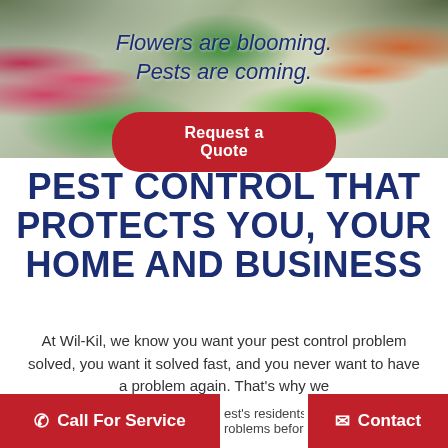[Figure (photo): Floral/plant background image with colorful flowers and green foliage, shown behind hero text banner]
Flowers are blooming.
Pests are coming.
Request a Quote
PEST CONTROL THAT PROTECTS YOU, YOUR HOME AND BUSINESS
At Wil-Kil, we know you want your pest control problem solved, you want it solved fast, and you never want to have a problem again. That's why we [Midwest's residents a...] [problems befor...]
Call For Service   Contact